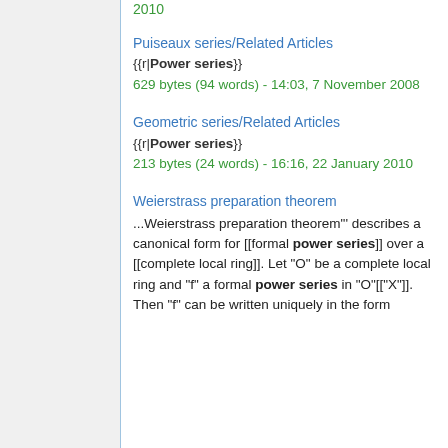2010
Puiseaux series/Related Articles
{{r|Power series}}
629 bytes (94 words) - 14:03, 7 November 2008
Geometric series/Related Articles
{{r|Power series}}
213 bytes (24 words) - 16:16, 22 January 2010
Weierstrass preparation theorem
...Weierstrass preparation theorem"' describes a canonical form for [[formal power series]] over a [[complete local ring]]. Let "O" be a complete local ring and "f" a formal power series in "O"[["X"]]. Then "f" can be written uniquely in the form